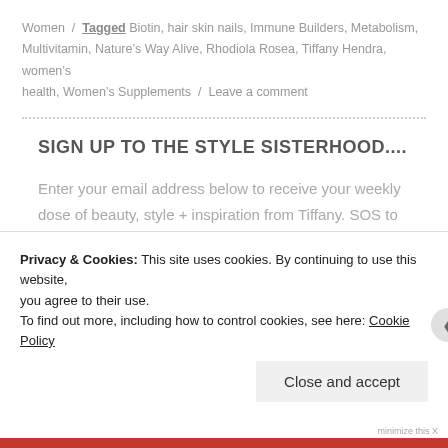Women / Tagged Biotin, hair skin nails, Immune Builders, Metabolism, Multivitamin, Nature's Way Alive, Rhodiola Rosea, Tiffany Hendra, women's health, Women's Supplements / Leave a comment
SIGN UP TO THE STYLE SISTERHOOD....
Enter your email address below to receive your weekly dose of beauty, style + inspiration from Tiffany. SOS to the rescue!
Enter your email address
Privacy & Cookies: This site uses cookies. By continuing to use this website, you agree to their use.
To find out more, including how to control cookies, see here: Cookie Policy